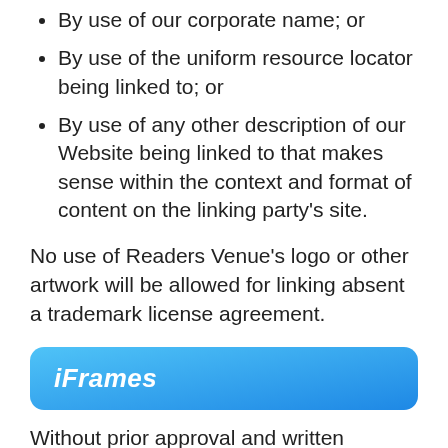By use of our corporate name; or
By use of the uniform resource locator being linked to; or
By use of any other description of our Website being linked to that makes sense within the context and format of content on the linking party's site.
No use of Readers Venue’s logo or other artwork will be allowed for linking absent a trademark license agreement.
iFrames
Without prior approval and written permission, you may not create frames around our Webpages that alter in any way the visual